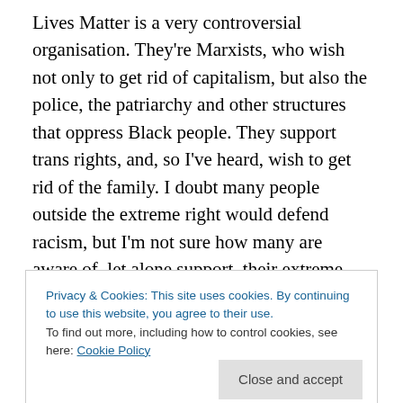Lives Matter is a very controversial organisation. They're Marxists, who wish not only to get rid of capitalism, but also the police, the patriarchy and other structures that oppress Black people. They support trans rights, and, so I've heard, wish to get rid of the family. I doubt many people outside the extreme right would defend racism, but I'm not sure how many are aware of, let alone support, their extreme radical views.

A number of Black American Conservatives have posted pieces on YouTube criticising them. One, Young Rippa,
Privacy & Cookies: This site uses cookies. By continuing to use this website, you agree to their use.
To find out more, including how to control cookies, see here: Cookie Policy
Close and accept